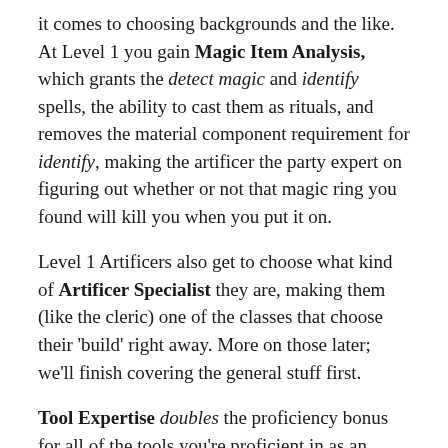it comes to choosing backgrounds and the like. At Level 1 you gain Magic Item Analysis, which grants the detect magic and identify spells, the ability to cast them as rituals, and removes the material component requirement for identify, making the artificer the party expert on figuring out whether or not that magic ring you found will kill you when you put it on.
Level 1 Artificers also get to choose what kind of Artificer Specialist they are, making them (like the cleric) one of the classes that choose their 'build' right away. More on those later; we'll finish covering the general stuff first.
Tool Expertise doubles the proficiency bonus for all of the tools you're proficient in as an artificer. This does not include tools you know how to use thanks to your race or background, but that's still a pretty